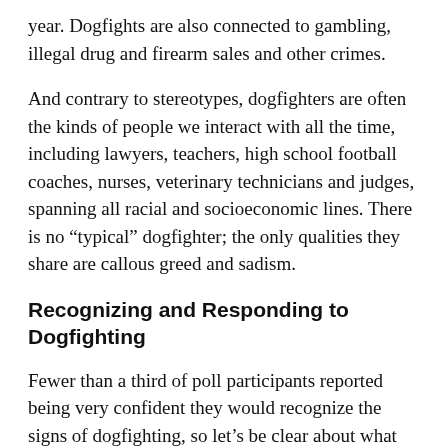year. Dogfights are also connected to gambling, illegal drug and firearm sales and other crimes.
And contrary to stereotypes, dogfighters are often the kinds of people we interact with all the time, including lawyers, teachers, high school football coaches, nurses, veterinary technicians and judges, spanning all racial and socioeconomic lines. There is no “typical” dogfighter; the only qualities they share are callous greed and sadism.
Recognizing and Responding to Dogfighting
Fewer than a third of poll participants reported being very confident they would recognize the signs of dogfighting, so let’s be clear about what